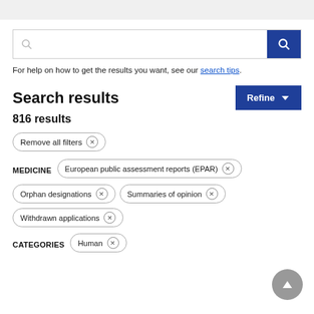[Figure (screenshot): Search bar with text input area and blue search button with magnifying glass icon]
For help on how to get the results you want, see our search tips.
Search results
816 results
Remove all filters ×
MEDICINE   European public assessment reports (EPAR) ×
Orphan designations ×
Summaries of opinion ×
Withdrawn applications ×
CATEGORIES   Human ×